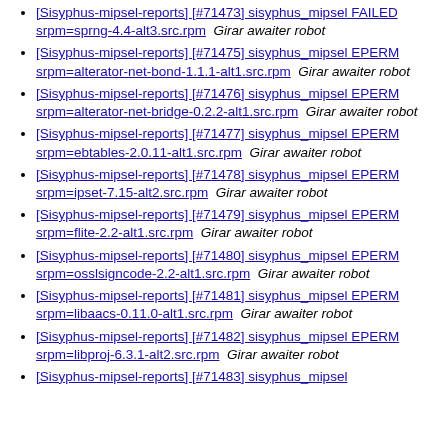[Sisyphus-mipsel-reports] [#71473] sisyphus_mipsel FAILED srpm=sprng-4.4-alt3.src.rpm  Girar awaiter robot
[Sisyphus-mipsel-reports] [#71475] sisyphus_mipsel EPERM srpm=alterator-net-bond-1.1.1-alt1.src.rpm  Girar awaiter robot
[Sisyphus-mipsel-reports] [#71476] sisyphus_mipsel EPERM srpm=alterator-net-bridge-0.2.2-alt1.src.rpm  Girar awaiter robot
[Sisyphus-mipsel-reports] [#71477] sisyphus_mipsel EPERM srpm=ebtables-2.0.11-alt1.src.rpm  Girar awaiter robot
[Sisyphus-mipsel-reports] [#71478] sisyphus_mipsel EPERM srpm=ipset-7.15-alt2.src.rpm  Girar awaiter robot
[Sisyphus-mipsel-reports] [#71479] sisyphus_mipsel EPERM srpm=flite-2.2-alt1.src.rpm  Girar awaiter robot
[Sisyphus-mipsel-reports] [#71480] sisyphus_mipsel EPERM srpm=osslsigncode-2.2-alt1.src.rpm  Girar awaiter robot
[Sisyphus-mipsel-reports] [#71481] sisyphus_mipsel EPERM srpm=libaacs-0.11.0-alt1.src.rpm  Girar awaiter robot
[Sisyphus-mipsel-reports] [#71482] sisyphus_mipsel EPERM srpm=libproj-6.3.1-alt2.src.rpm  Girar awaiter robot
[Sisyphus-mipsel-reports] [#71483] sisyphus_mipsel ...